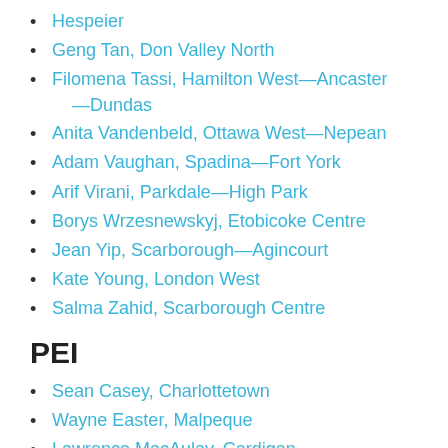Hespeier
Geng Tan, Don Valley North
Filomena Tassi, Hamilton West—Ancaster—Dundas
Anita Vandenbeld, Ottawa West—Nepean
Adam Vaughan, Spadina—Fort York
Arif Virani, Parkdale—High Park
Borys Wrzesnewskyj, Etobicoke Centre
Jean Yip, Scarborough—Agincourt
Kate Young, London West
Salma Zahid, Scarborough Centre
PEI
Sean Casey, Charlottetown
Wayne Easter, Malpeque
Lawrence MacAulay, Cardigan
Robert Morrissey, Egmont
Quebec